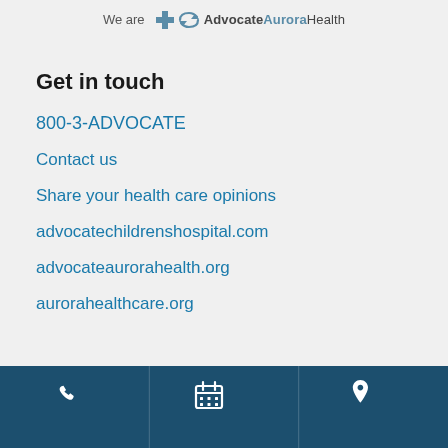We are Advocate Aurora Health
Get in touch
800-3-ADVOCATE
Contact us
Share your health care opinions
advocatechildrenshospital.com
advocateaurorahealth.org
aurorahealthcare.org
[Figure (infographic): Bottom navigation bar with three icons: phone, calendar, and map pin, on dark blue background]